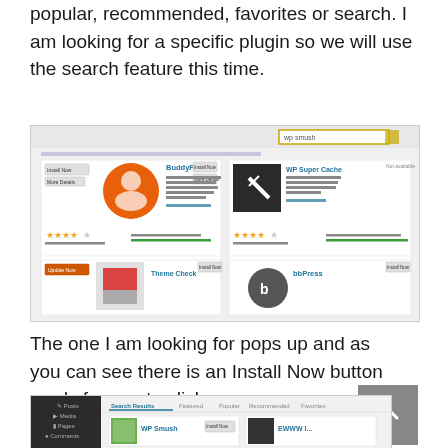popular, recommended, favorites or search. I am looking for a specific plugin so we will use the search feature this time.
[Figure (screenshot): WordPress plugin search page showing BuddyPress and WP Super Cache plugins with install buttons and search box highlighted]
The one I am looking for pops up and as you can see there is an Install Now button ready for you to click.
[Figure (screenshot): WordPress admin dashboard with plugin search results showing WP Smush and EWWW plugins]